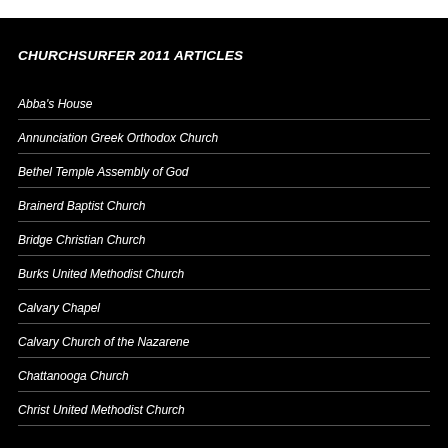CHURCHSURFER 2011 ARTICLES
Abba's House
Annunciation Greek Orthodox Church
Bethel Temple Assembly of God
Brainerd Baptist Church
Bridge Christian Church
Burks United Methodist Church
Calvary Chapel
Calvary Church of the Nazarene
Chattanooga Church
Christ United Methodist Church